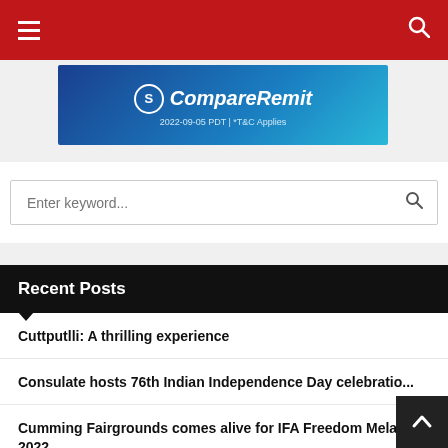Navigation header with hamburger menu and search icon
[Figure (logo): CompareRemit banner advertisement with logo and date 2022-09-05 PDT | *T&C Applies]
Enter keyword...
Recent Posts
Cuttputlli: A thrilling experience
Consulate hosts 76th Indian Independence Day celebration
Cumming Fairgrounds comes alive for IFA Freedom Mela 2022